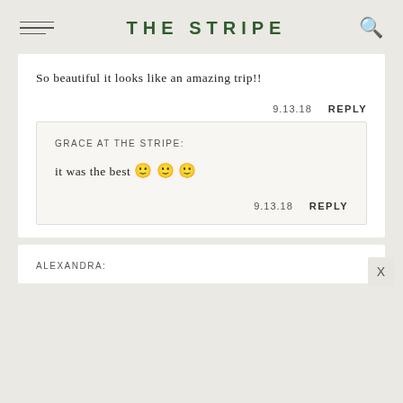THE STRIPE
So beautiful it looks like an amazing trip!!
9.13.18   REPLY
GRACE AT THE STRIPE:
it was the best 🙂 🙂 🙂
9.13.18   REPLY
ALEXANDRA: